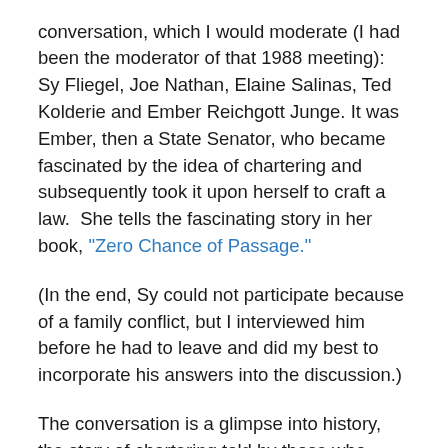conversation, which I would moderate (I had been the moderator of that 1988 meeting): Sy Fliegel, Joe Nathan, Elaine Salinas, Ted Kolderie and Ember Reichgott Junge. It was Ember, then a State Senator, who became fascinated by the idea of chartering and subsequently took it upon herself to craft a law.  She tells the fascinating story in her book, "Zero Chance of Passage."
(In the end, Sy could not participate because of a family conflict, but I interviewed him before he had to leave and did my best to incorporate his answers into the discussion.)
The conversation is a glimpse into history, the story of chartering told by those who were (and are) in the arena.  They have some valuable insights into the current situation too, of course.  You will soon be able to watch the